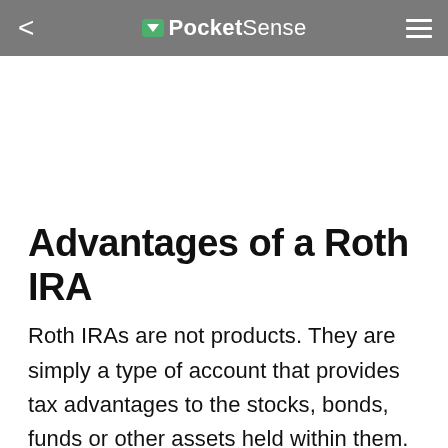PocketSense
Advantages of a Roth IRA
Roth IRAs are not products. They are simply a type of account that provides tax advantages to the stocks, bonds, funds or other assets held within them. Roth IRAs give the account holder a tremendous amount